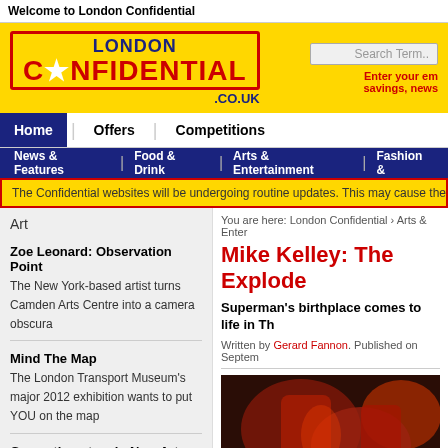Welcome to London Confidential
[Figure (logo): London Confidential logo on yellow background with search box and email signup]
Home | Offers | Competitions
News & Features | Food & Drink | Arts & Entertainment | Fashion &
The Confidential websites will be undergoing routine updates. This may cause the
Art
Zoe Leonard: Observation Point — The New York-based artist turns Camden Arts Centre into a camera obscura
Mind The Map — The London Transport Museum's major 2012 exhibition wants to put YOU on the map
Gesamtkunstwerk: New Art from Germany Review — The Saatchi Gallery offers a glimpse of Germany's latest creative squeezes
You are here: London Confidential › Arts & Enter
Mike Kelley: The Explode
Superman's birthplace comes to life in Th
Written by Gerard Fannon. Published on Septem
[Figure (photo): Red-toned interior art installation photo]